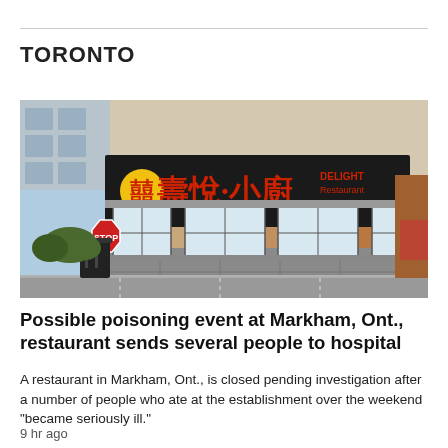TORONTO
[Figure (photo): Exterior of a Chinese restaurant called 'Delight Restaurant & BBQ' with Chinese characters on a black sign, brick building facade, stop sign visible on the left, large windows on ground floor.]
Possible poisoning event at Markham, Ont., restaurant sends several people to hospital
A restaurant in Markham, Ont., is closed pending investigation after a number of people who ate at the establishment over the weekend "became seriously ill."
9 hr ago